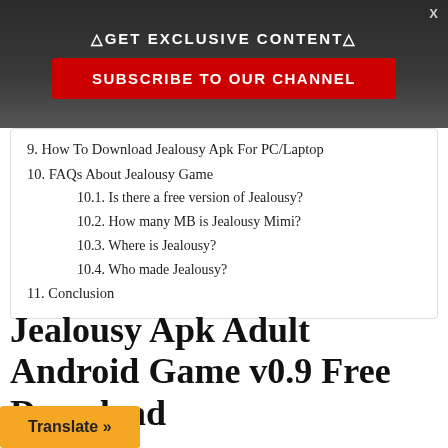△GET EXCLUSIVE CONTENT△
SUBSCRIBE TO OUR CHANNEL
9. How To Download Jealousy Apk For PC/Laptop
10. FAQs About Jealousy Game
10.1. Is there a free version of Jealousy?
10.2. How many MB is Jealousy Mimi?
10.3. Where is Jealousy?
10.4. Who made Jealousy?
11. Conclusion
Jealousy Apk Adult Android Game v0.9 Free Download
If you've been searching the internet for Jealousy apk game, then your on the right page. In this post i will be sharing the most anticipated and requested d Apk latest version.